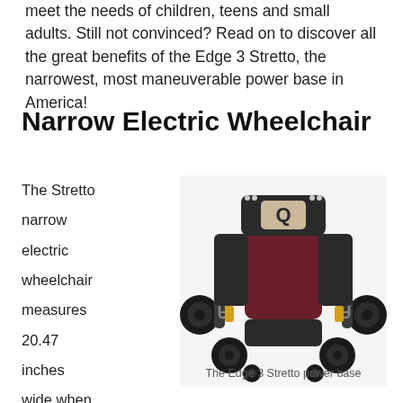meet the needs of children, teens and small adults. Still not convinced? Read on to discover all the great benefits of the Edge 3 Stretto, the narrowest, most maneuverable power base in America!
Narrow Electric Wheelchair
The Stretto narrow electric wheelchair measures 20.47 inches wide when 12.5-inch drive wheels are
[Figure (photo): Front view of the Edge 3 Stretto power base wheelchair, a dark colored narrow electric wheelchair with six wheels, suspension components, and a Q logo badge on the top center.]
The Edge 3 Stretto power base